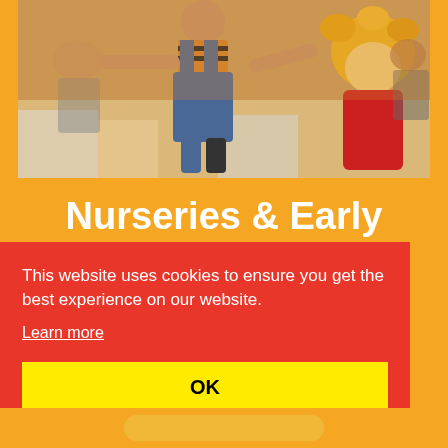[Figure (photo): Children playing on the floor in a nursery setting with a rag doll puppet visible on the right side; adults visible in background]
Nurseries & Early
This website uses cookies to ensure you get the best experience on our website.
Learn more
OK